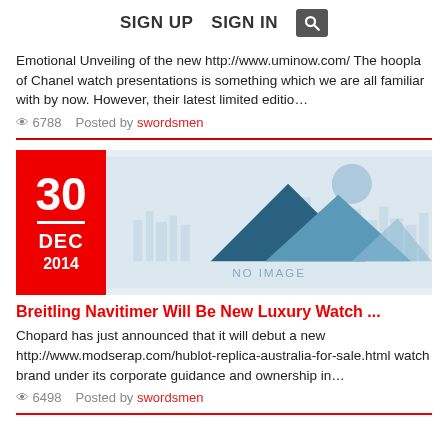SIGN UP   SIGN IN
Emotional Unveiling of the new http://www.uminow.com/ The hoopla of Chanel watch presentations is something which we are all familiar with by now. However, their latest limited editio…
👁 6788   Posted by swordsmen
[Figure (illustration): No image placeholder with mountain/pyramid shapes and city skyline silhouette in light blue tones, with a light blue circle (sun/moon) in upper right. Text reads NO IMAGE.]
Breitling Navitimer Will Be New Luxury Watch ...
Chopard has just announced that it will debut a new http://www.modserap.com/hublot-replica-australia-for-sale.html watch brand under its corporate guidance and ownership in…
👁 6498   Posted by swordsmen